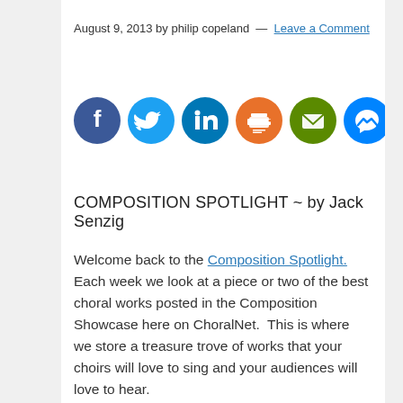August 9, 2013 by philip copeland — Leave a Comment
[Figure (infographic): Six social sharing icon buttons: Facebook (dark blue), Twitter (light blue), LinkedIn (dark blue), Print (orange), Email (green), Messenger (light blue)]
COMPOSITION SPOTLIGHT ~ by Jack Senzig
Welcome back to the Composition Spotlight. Each week we look at a piece or two of the best choral works posted in the Composition Showcase here on ChoralNet. This is where we store a treasure trove of works that your choirs will love to sing and your audiences will love to hear.